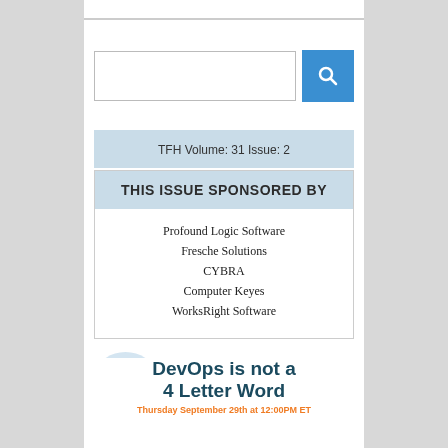[Figure (screenshot): Search bar with text input box and blue search button with magnifying glass icon]
TFH Volume: 31 Issue: 2
THIS ISSUE SPONSORED BY
Profound Logic Software
Fresche Solutions
CYBRA
Computer Keyes
WorksRight Software
DevOps is not a 4 Letter Word
Thursday September 29th at 12:00PM ET